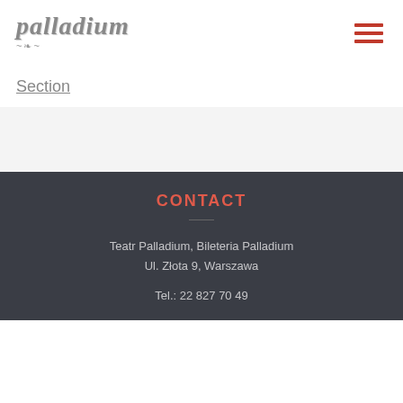[Figure (logo): Palladium theater logo with stylized italic text and decorative swirl underneath]
Section
CONTACT
Teatr Palladium, Bileteria Palladium
Ul. Złota 9, Warszawa
Tel.: 22 827 70 49